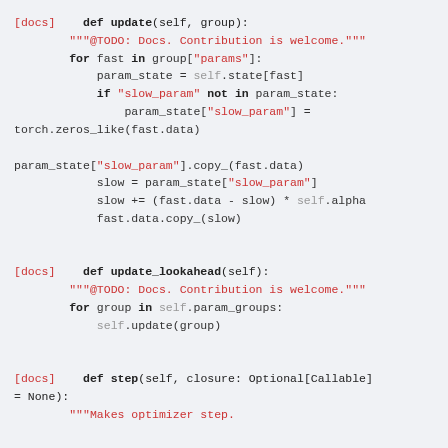Code snippet showing Python class methods: update, update_lookahead, step for an optimizer with lookahead functionality.